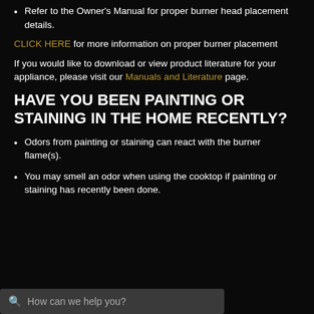Refer to the Owner's Manual for proper burner head placement details.
CLICK HERE for more information on proper burner placement
If you would like to download or view product literature for your appliance, please visit our Manuals and Literature page.
HAVE YOU BEEN PAINTING OR STAINING IN THE HOME RECENTLY?
Odors from painting or staining can react with the burner flame(s).
You may smell an odor when using the cooktop if painting or staining has recently been done.
How can we help you?